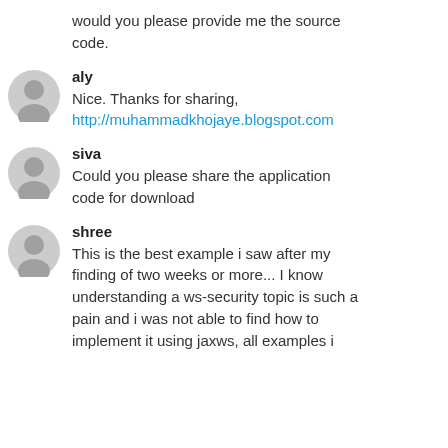would you please provide me the source code.
aly
Nice. Thanks for sharing,
http://muhammadkhojaye.blogspot.com
siva
Could you please share the application code for download
shree
This is the best example i saw after my finding of two weeks or more... I know understanding a ws-security topic is such a pain and i was not able to find how to implement it using jaxws, all examples i